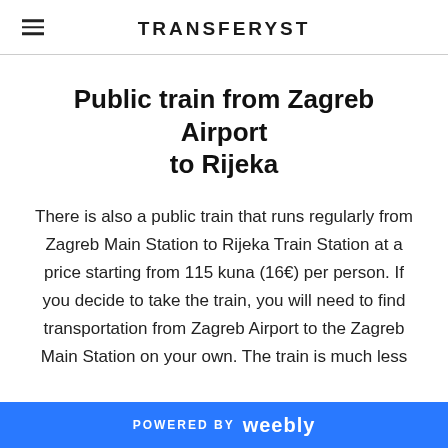TRANSFERYST
Public train from Zagreb Airport to Rijeka
There is also a public train that runs regularly from Zagreb Main Station to Rijeka Train Station at a price starting from 115 kuna (16€) per person. If you decide to take the train, you will need to find transportation from Zagreb Airport to the Zagreb Main Station on your own. The train is much less
POWERED BY weebly